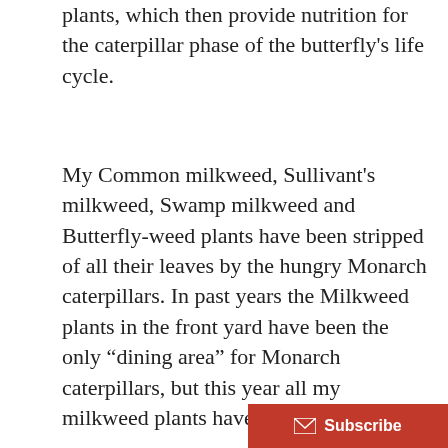plants, which then provide nutrition for the caterpillar phase of the butterfly's life cycle.
My Common milkweed, Sullivant's milkweed, Swamp milkweed and Butterfly-weed plants have been stripped of all their leaves by the hungry Monarch caterpillars. In past years the Milkweed plants in the front yard have been the only “dining area” for Monarch caterpillars, but this year all my milkweed plants have been devoured!
Are you wondering what to do with all your milkweed pods? If you aren’t going to plant them, your county Soil and Water Conservation District office will take them. The Ohio Pollinator H...